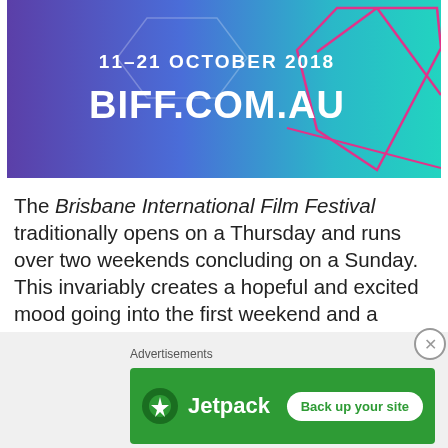[Figure (illustration): Brisbane International Film Festival 2018 banner with gradient background (blue to teal to magenta), geometric diamond shapes, text '11-21 OCTOBER 2018' and 'BIFF.COM.AU' in white]
The Brisbane International Film Festival traditionally opens on a Thursday and runs over two weekends concluding on a Sunday. This invariably creates a hopeful and excited mood going into the first weekend and a reflective and wistful one going into the second.  It was no different this year but as opposed to the films seen at BIFF 2017 Karen and I really enjoyed the ones we saw this year and so our moods were further lifted after the first weekend.
Advertisements
[Figure (screenshot): Jetpack advertisement banner showing Jetpack logo and 'Back up your site' button on green background]